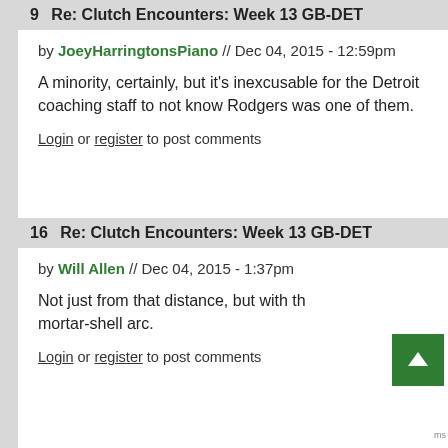9   Re: Clutch Encounters: Week 13 GB-DET
by JoeyHarringtonsPiano // Dec 04, 2015 - 12:59pm
A minority, certainly, but it's inexcusable for the Detroit coaching staff to not know Rodgers was one of them.
Login or register to post comments
16   Re: Clutch Encounters: Week 13 GB-DET
by Will Allen // Dec 04, 2015 - 1:37pm
Not just from that distance, but with the mortar-shell arc.
Login or register to post comments